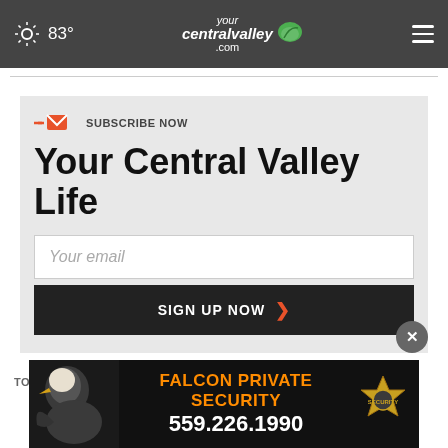83° yourcentralvalley.com
SUBSCRIBE NOW
Your Central Valley Life
Your email
SIGN UP NOW
[Figure (infographic): Falcon Private Security advertisement banner with eagle image and sheriff badge. Text: FALCON PRIVATE SECURITY 559.226.1990]
TOP S